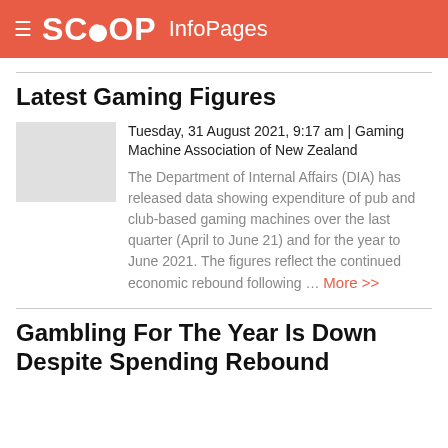SCOOP InfoPages
Latest Gaming Figures
Tuesday, 31 August 2021, 9:17 am | Gaming Machine Association of New Zealand
The Department of Internal Affairs (DIA) has released data showing expenditure of pub and club-based gaming machines over the last quarter (April to June 21) and for the year to June 2021. The figures reflect the continued economic rebound following … More >>
Gambling For The Year Is Down Despite Spending Rebound